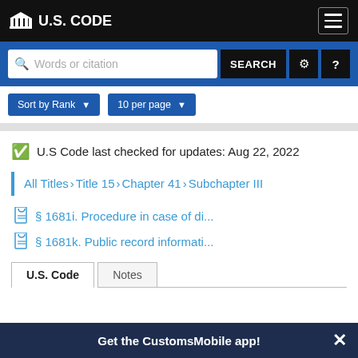U.S. CODE
Words or citation  SEARCH
Sort by Rank    10 per page
U.S Code last checked for updates: Aug 22, 2022
All Titles › Title 15 › Chapter 41 › Subchapter III
§1681i. Procedure in case of di...
§1681k. Public record informati...
U.S. Code    Notes
Get the CustomsMobile app!